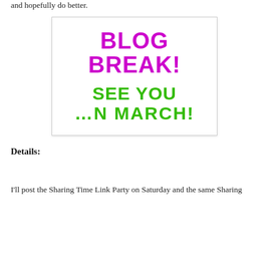and hopefully do better.
[Figure (illustration): Blog Break image: Large stylized text 'BLOG BREAK!' in magenta/pink hatched font, below it 'SEE YOU IN MARCH!' in bold green font with dotted arrow motif, on white background with light border.]
Details:
I'll post the Sharing Time Link Party on Saturday and the same Sharing